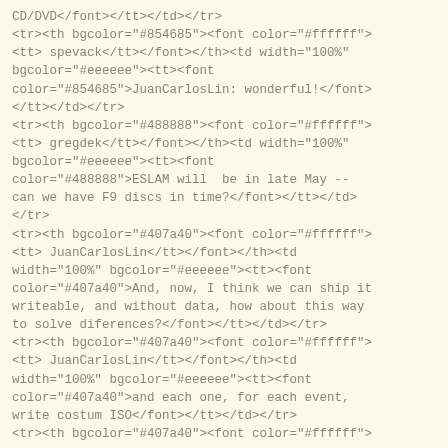CD/DVD</font></tt></td></tr>
<tr><th bgcolor="#854685"><font color="#ffffff">
<tt> spevack</tt></font></th><td width="100%"
bgcolor="#eeeeee"><tt><font
color="#854685">JuanCarlosLin: wonderful!</font>
</tt></td></tr>
<tr><th bgcolor="#488888"><font color="#ffffff">
<tt> gregdek</tt></font></th><td width="100%"
bgcolor="#eeeeee"><tt><font
color="#488888">ESLAM will  be in late May --
can we have F9 discs in time?</font></tt></td>
</tr>
<tr><th bgcolor="#407a40"><font color="#ffffff">
<tt> JuanCarlosLin</tt></font></th><td
width="100%" bgcolor="#eeeeee"><tt><font
color="#407a40">And, now, I think we can ship it
writeable, and without data, how about this way
to solve diferences?</font></tt></td></tr>
<tr><th bgcolor="#407a40"><font color="#ffffff">
<tt> JuanCarlosLin</tt></font></th><td
width="100%" bgcolor="#eeeeee"><tt><font
color="#407a40">and each one, for each event,
write costum ISO</font></tt></td></tr>